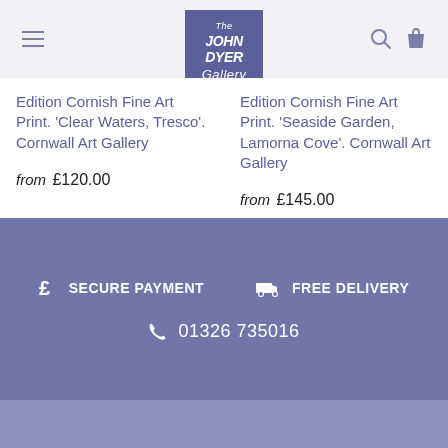The John Dyer Gallery
Edition Cornish Fine Art Print. 'Clear Waters, Tresco'. Cornwall Art Gallery
from £120.00
Edition Cornish Fine Art Print. 'Seaside Garden, Lamorna Cove'. Cornwall Art Gallery
from £145.00
£ SECURE PAYMENT   FREE DELIVERY   01326 735016